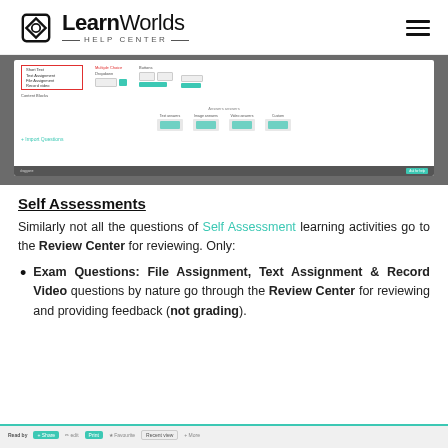LearnWorlds HELP CENTER
[Figure (screenshot): Screenshot of a LearnWorlds course builder interface showing question types including File Assignment, Text Assignment, Record Video, dropdown and button options, answer types (Text answer, Image answer, Video answer, Custom), and an Import Questions button.]
Self Assessments
Similarly not all the questions of Self Assessment learning activities go to the Review Center for reviewing. Only:
Exam Questions: File Assignment, Text Assignment & Record Video questions by nature go through the Review Center for reviewing and providing feedback (not grading).
[Figure (screenshot): Bottom strip showing a toolbar interface with teal-colored buttons and options.]